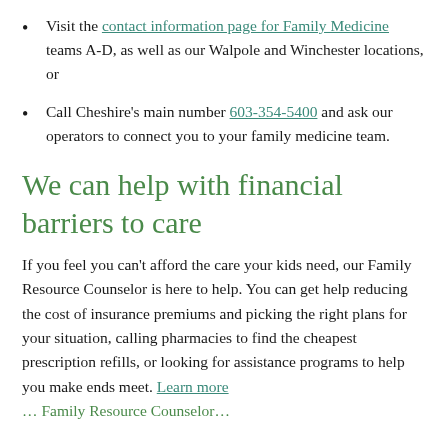Visit the contact information page for Family Medicine teams A-D, as well as our Walpole and Winchester locations, or
Call Cheshire's main number 603-354-5400 and ask our operators to connect you to your family medicine team.
We can help with financial barriers to care
If you feel you can't afford the care your kids need, our Family Resource Counselor is here to help. You can get help reducing the cost of insurance premiums and picking the right plans for your situation, calling pharmacies to find the cheapest prescription refills, or looking for assistance programs to help you make ends meet. Learn more … Family Resource Counselor…